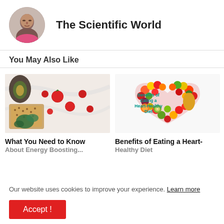The Scientific World
You May Also Like
[Figure (photo): Food items including crackers, tomatoes, and greens on a white surface]
What You Need to Know About Energy Boosting...
[Figure (photo): Heart shape made of colorful fruits with text 'Benefits of Eating a Heart-Healthy Diet']
Benefits of Eating a Heart-Healthy Diet
Our website uses cookies to improve your experience. Learn more
Accept !